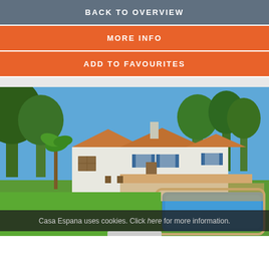BACK TO OVERVIEW
MORE INFO
ADD TO FAVOURITES
[Figure (photo): Exterior photo of a white Spanish villa with blue trim, surrounded by green trees, featuring a swimming pool in the foreground and a clear blue sky.]
Casa Espana uses cookies. Click here for more information.
Close